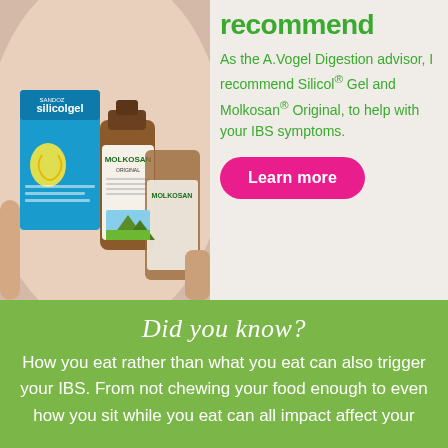[Figure (photo): Photo of woman holding Silicol Gel and Molkosan Original products, with product packaging visible including silicolgel box and Molkosan bottle]
recommend
As the A.Vogel Digestion advisor, I recommend Silicol® Gel and Molkosan® Original, to help with your IBS symptoms.
Learn more
Did you know?
How you eat rather than what you eat can also trigger your IBS. From not chewing your food enough to even how you sit while you eat can all impact affect your